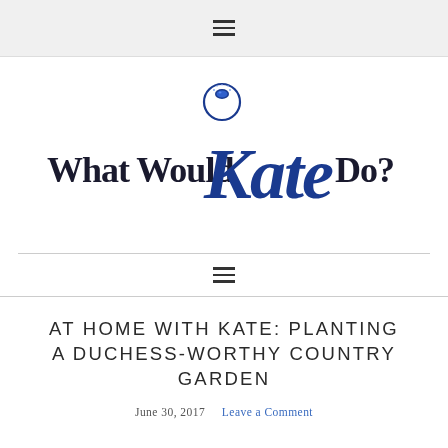≡ (hamburger menu)
[Figure (logo): What Would Kate Do? logo — stylized script 'Kate' in dark blue with a diamond ring above the K, flanked by serif text 'What Would' and 'Do?']
≡ (hamburger menu navigation bar)
AT HOME WITH KATE: PLANTING A DUCHESS-WORTHY COUNTRY GARDEN
June 30, 2017    Leave a Comment